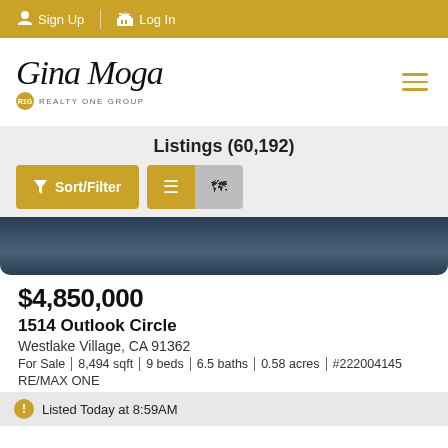Sign Up  Log In
[Figure (logo): Gina Moga Realty One Group logo with cursive script and gold circle]
Listings (60,192)
Sort/Filter | List view | Map view buttons
[Figure (photo): Dark navy blue property image strip]
$4,850,000
1514 Outlook Circle
Westlake Village, CA 91362
For Sale | 8,494 sqft | 9 beds | 6.5 baths | 0.58 acres | #222004145
RE/MAX ONE
Listed Today at 8:59AM